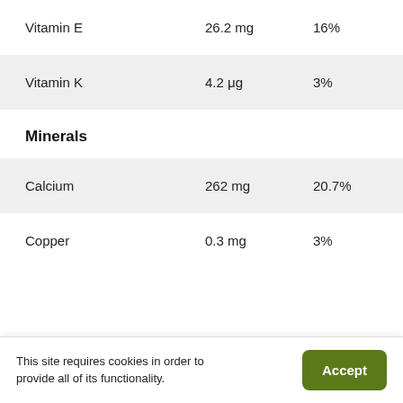|  | Amount | % |
| --- | --- | --- |
| Vitamin E | 26.2 mg | 16% |
| Vitamin K | 4.2 μg | 3% |
Minerals
|  | Amount | % |
| --- | --- | --- |
| Calcium | 262 mg | 20.7% |
| Copper | 0.3 mg | 3% |
This site requires cookies in order to provide all of its functionality.